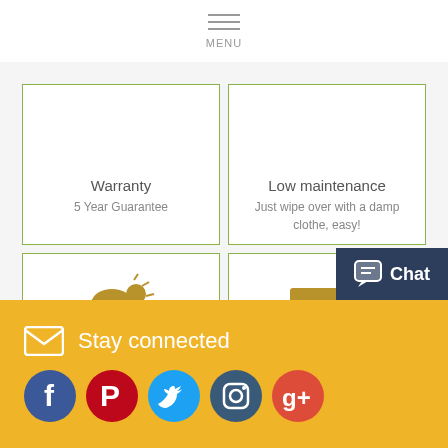MENU
[Figure (illustration): Weather resistant icon: cloud with rain drops and sun rays, golden/brown color]
Weather Resistant
UV resistant, Showerproof, Frost resistant
Low maintenance
Just wipe over with a damp clothe, easy!
[Figure (illustration): Delivery truck icon in golden/brown color]
Free Delivery
On all order over £95
Warranty
5 Year Guarantee
Stay connected
[Figure (illustration): Social media icons: Facebook, Pinterest, Twitter, Instagram, Google+]
Chat